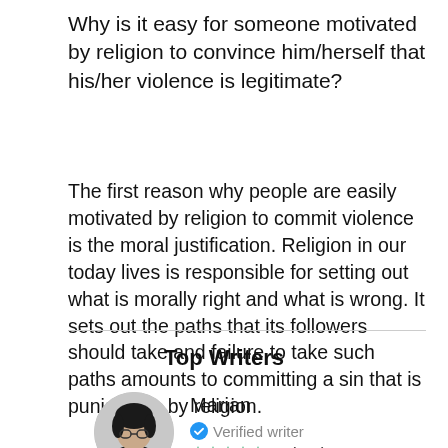Why is it easy for someone motivated by religion to convince him/herself that his/her violence is legitimate?
The first reason why people are easily motivated by religion to commit violence is the moral justification. Religion in our today lives is responsible for setting out what is morally right and what is wrong. It sets out the paths that its followers should take and failure to take such paths amounts to committing a sin that is punishable by religion.
Top Writers
[Figure (photo): Profile photo of Marian, a woman with dark hair and glasses, shown in a circular crop.]
Marian
Verified writer
4.8 (300)